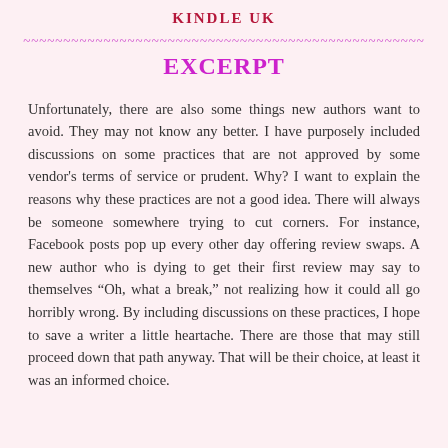KINDLE UK
EXCERPT
Unfortunately, there are also some things new authors want to avoid. They may not know any better. I have purposely included discussions on some practices that are not approved by some vendor's terms of service or prudent. Why? I want to explain the reasons why these practices are not a good idea. There will always be someone somewhere trying to cut corners. For instance, Facebook posts pop up every other day offering review swaps. A new author who is dying to get their first review may say to themselves “Oh, what a break,” not realizing how it could all go horribly wrong. By including discussions on these practices, I hope to save a writer a little heartache. There are those that may still proceed down that path anyway. That will be their choice, at least it was an informed choice.